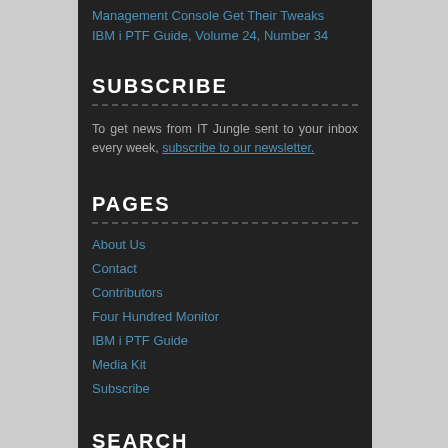Management Console Get Their Tweaks
IBM i PTF Guide, Volume 24, Number 34
SUBSCRIBE
To get news from IT Jungle sent to your inbox every week, subscribe to our newsletter.
PAGES
About Us
Contact
Contributors
Four Hundred Monitor
IBM i PTF Guide
Media Kit
Subscribe
SEARCH